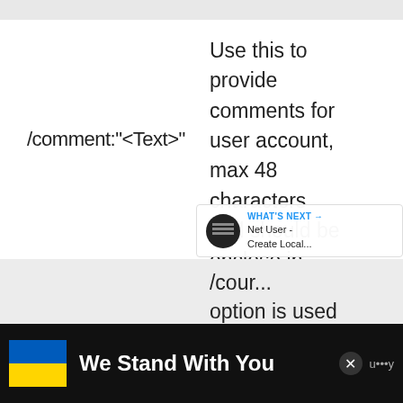/comment:"<Text>"
Use this to provide comments for user account, max 48 characters and should be enclose in quotation marks.
/count... option is used
[Figure (screenshot): What's Next overlay showing Net User - Create Local... with avatar icon]
[Figure (screenshot): Ad banner: We Stand With You with Ukrainian flag colors]